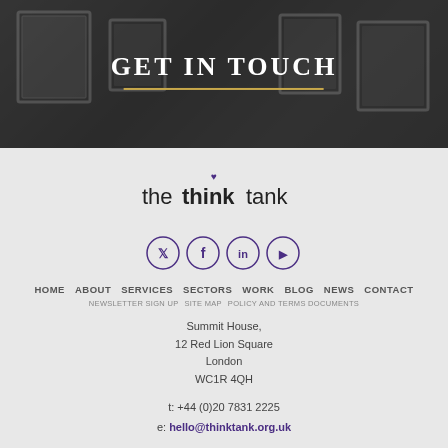[Figure (photo): Dark hero banner image of an office/gallery space with framed pictures on wall, overlaid with dark tint]
GET IN TOUCH
[Figure (logo): The Think Tank logo - text logo reading 'the thinktank' with a small purple heart/icon above the i in think]
[Figure (infographic): Four purple-bordered circular social media icons: Twitter, Facebook, LinkedIn, YouTube]
HOME   ABOUT   SERVICES   SECTORS   WORK   BLOG   NEWS   CONTACT
NEWSLETTER SIGN UP   SITE MAP   POLICY AND TERMS DOCUMENTS
Summit House,
12 Red Lion Square
London
WC1R 4QH
t: +44 (0)20 7831 2225
e: hello@thinktank.org.uk